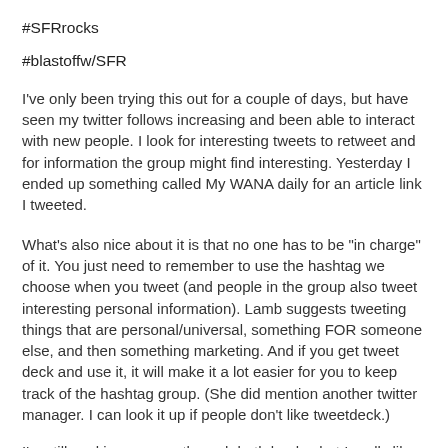#SFRrocks
#blastoffw/SFR
I've only been trying this out for a couple of days, but have seen my twitter follows increasing and been able to interact with new people. I look for interesting tweets to retweet and for information the group might find interesting. Yesterday I ended up something called My WANA daily for an article link I tweeted.
What's also nice about it is that no one has to be "in charge" of it. You just need to remember to use the hashtag we choose when you tweet (and people in the group also tweet interesting personal information). Lamb suggests tweeting things that are personal/universal, something FOR someone else, and then something marketing. And if you get tweet deck and use it, it will make it a lot easier for you to keep track of the hashtag group. (She did mention another twitter manager. I can look it up if people don't like tweetdeck.)
I'm still working my way through both books, but I really like